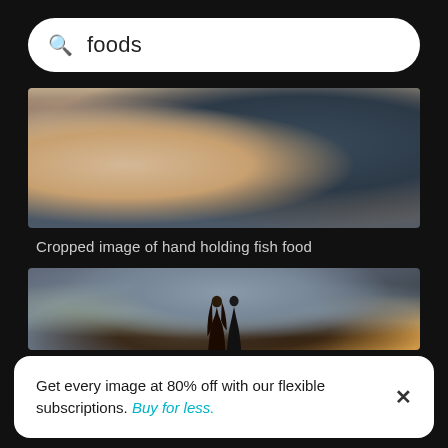foods
[Figure (photo): Cropped image of hand holding fish food against dark blurred background]
Cropped image of hand holding fish food
[Figure (photo): Couple near water, woman with long dark hair and man in dark jacket, warm golden light in corner]
Get every image at 80% off with our flexible subscriptions. Buy for less.